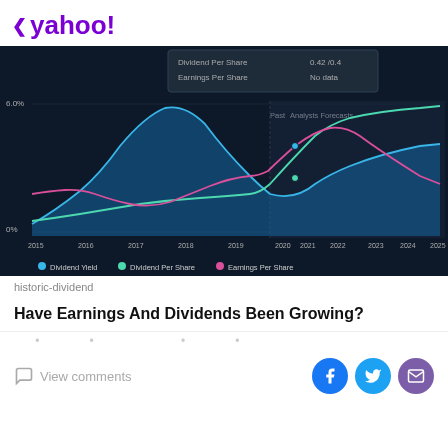< yahoo!
[Figure (line-chart): Multi-line area chart on dark background showing Dividend Yield (blue area), Dividend Per Share (teal line), and Earnings Per Share (pink line) from 2015 to 2025. A vertical line separates Past from Analysts Forecasts. A tooltip is visible showing Dividend Per Share and Earnings Per Share = No data. The blue area peaks around 2018-2019, dips, then rises again post-2022. Teal line rises sharply after 2022. Pink line peaks around 2021 then falls.]
historic-dividend
Have Earnings And Dividends Been Growing?
…
View comments